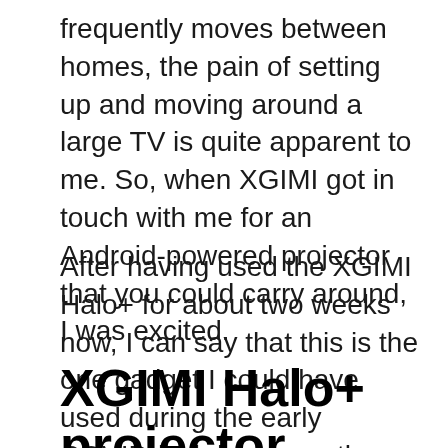frequently moves between homes, the pain of setting up and moving around a large TV is quite apparent to me. So, when XGIMI got in touch with me for an Android-powered projector that you could carry around, I was excited.
After having used the XGIMI Halo+ for about two weeks now, I can say that this is the one gadget I could have used during the early COVID-lockdown months. Here’s my experience with the XGIMI Halo+ projector and whether investing in a projector would be worth it for you.
XGIMI Halo+ projector review: